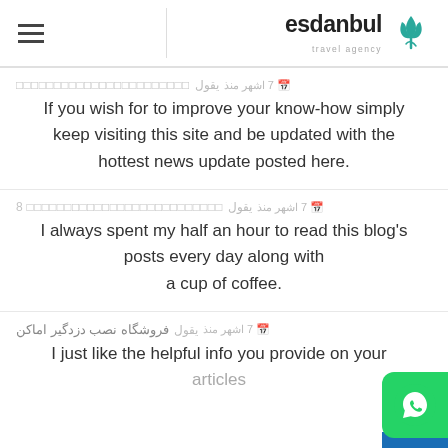esdanbul travel agency
یقول [placeholder name] 7 اشهر منذ
If you wish for to improve your know-how simply keep visiting this site and be updated with the hottest news update posted here.
8 یقول [placeholder name] 7 اشهر منذ
I always spent my half an hour to read this blog's posts every day along with a cup of coffee.
فروشگاه نصب دزدگیر اماکن یقول 7 اشهر منذ
I just like the helpful info you provide on your articles.
[Figure (logo): WhatsApp contact button, green rounded rectangle with WhatsApp icon]